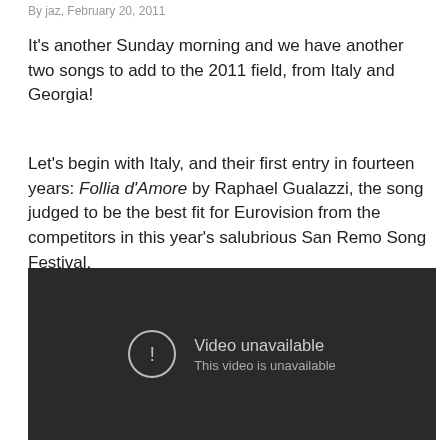By jaz, February 20, 2011
It's another Sunday morning and we have another two songs to add to the 2011 field, from Italy and Georgia!
Let's begin with Italy, and their first entry in fourteen years: Follia d'Amore by Raphael Gualazzi, the song judged to be the best fit for Eurovision from the competitors in this year's salubrious San Remo Song Festival.
[Figure (screenshot): Embedded video player showing 'Video unavailable — This video is unavailable' message on dark background]